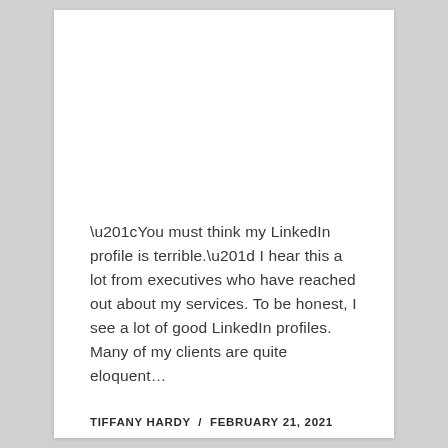“You must think my LinkedIn profile is terrible.” I hear this a lot from executives who have reached out about my services. To be honest, I see a lot of good LinkedIn profiles. Many of my clients are quite eloquent…
TIFFANY HARDY  /  FEBRUARY 21, 2021